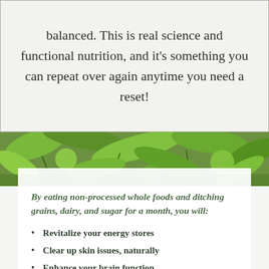balanced. This is real science and functional nutrition, and it's something you can repeat over again anytime you need a reset!
[Figure (photo): Close-up photo of fresh green leafy vegetables and herbs]
By eating non-processed whole foods and ditching grains, dairy, and sugar for a month, you will:
Revitalize your energy stores
Clear up skin issues, naturally
Enhance your brain function
Reduce inflammation
Boost your mood
Train intuitive eating…